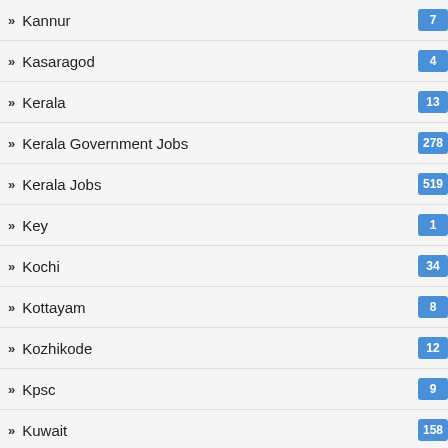Kannur
Kasaragod
Kerala
Kerala Government Jobs
Kerala Jobs
Key
Kochi
Kottayam
Kozhikode
Kpsc
Kuwait
Law
Library Science